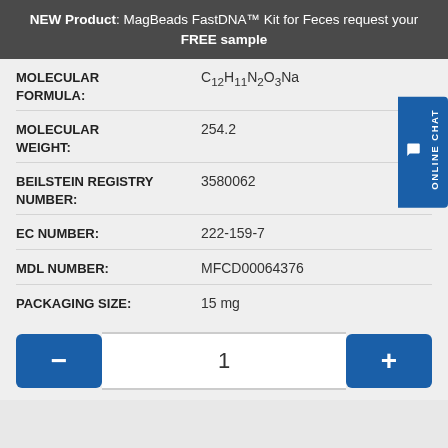NEW Product: MagBeads FastDNA™ Kit for Feces request your FREE sample
| Property | Value |
| --- | --- |
| MOLECULAR FORMULA: | C12H11N2O3Na |
| MOLECULAR WEIGHT: | 254.2 |
| BEILSTEIN REGISTRY NUMBER: | 3580062 |
| EC NUMBER: | 222-159-7 |
| MDL NUMBER: | MFCD00064376 |
| PACKAGING SIZE: | 15 mg |